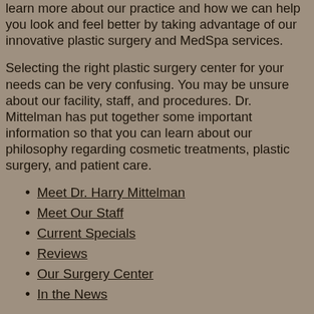learn more about our practice and how we can help you look and feel better by taking advantage of our innovative plastic surgery and MedSpa services.
Selecting the right plastic surgery center for your needs can be very confusing. You may be unsure about our facility, staff, and procedures. Dr. Mittelman has put together some important information so that you can learn about our philosophy regarding cosmetic treatments, plastic surgery, and patient care.
Meet Dr. Harry Mittelman
Meet Our Staff
Current Specials
Reviews
Our Surgery Center
In the News